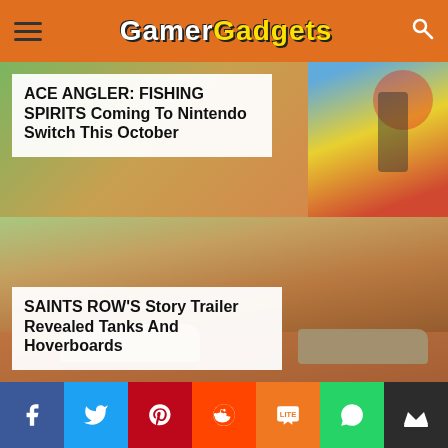GamerGadgets
[Figure (screenshot): Game news website screenshot showing GamerGadgets logo header, two article cards with game imagery, and social share bar at bottom]
ACE ANGLER: FISHING SPIRITS Coming To Nintendo Switch This October
SAINTS ROW'S Story Trailer Revealed Tanks And Hoverboards